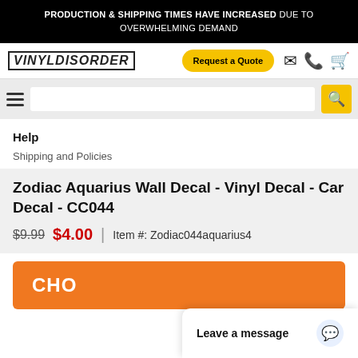PRODUCTION & SHIPPING TIMES HAVE INCREASED DUE TO OVERWHELMING DEMAND
[Figure (logo): VinylDisorder logo in bold italic block letters with border]
Request a Quote
Help
Shipping and Policies
Zodiac Aquarius Wall Decal - Vinyl Decal - Car Decal - CC044
$9.99  $4.00  |  Item #: Zodiac044aquarius4
CHO
Leave a message